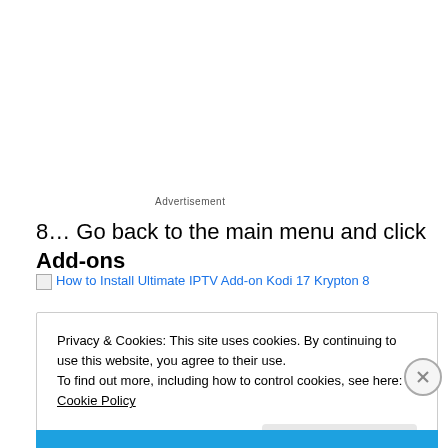Advertisement
8… Go back to the main menu and click Add-ons
[Figure (screenshot): Broken image link placeholder for 'How to Install Ultimate IPTV Add-on Kodi 17 Krypton 8' with blue hyperlink text]
Privacy & Cookies: This site uses cookies. By continuing to use this website, you agree to their use.
To find out more, including how to control cookies, see here: Cookie Policy
Close and accept